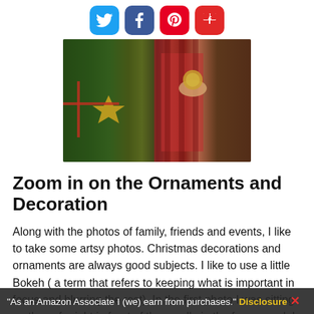[Figure (photo): Social media share icons: Twitter (blue), Facebook (dark blue), Pinterest (red), Flipboard (red)]
[Figure (photo): Christmas tree ornaments and decorations photo, with a person in plaid holding ornaments]
Zoom in on the Ornaments and Decoration
Along with the photos of family, friends and events, I like to take some artsy photos.  Christmas decorations and ornaments are always good subjects.  I like to use a little Bokeh ( a term that refers to keeping what is important in focus and blurring the rest).  In the first photo I was sitting on the sofa right in front of the candle in the foreground.  I set my aperture to 1.8 and zoomed in on the candle.  I was hand holding the camera so I steadied it on my knee.  I got the
"As an Amazon Associate I (we) earn from purchases." Disclosure ✕